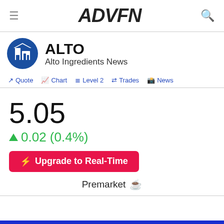ADVFN
[Figure (logo): Alto Ingredients company logo - blue circle with white building icon]
ALTO
Alto Ingredients News
Quote  Chart  Level 2  Trades  News
5.05
0.02 (0.4%)
Upgrade to Real-Time
Premarket